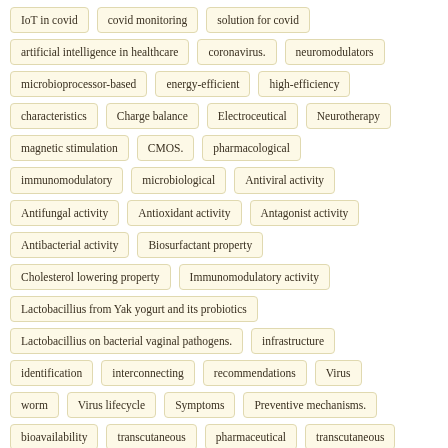IoT in covid
covid monitoring
solution for covid
artificial intelligence in healthcare
coronavirus.
neuromodulators
microbioprocessor-based
energy-efficient
high-efficiency
characteristics
Charge balance
Electroceutical
Neurotherapy
magnetic stimulation
CMOS.
pharmacological
immunomodulatory
microbiological
Antiviral activity
Antifungal activity
Antioxidant activity
Antagonist activity
Antibacterial activity
Biosurfactant property
Cholesterol lowering property
Immunomodulatory activity
Lactobacillius from Yak yogurt and its probiotics
Lactobacillius on bacterial vaginal pathogens.
infrastructure
identification
interconnecting
recommendations
Virus
worm
Virus lifecycle
Symptoms
Preventive mechanisms.
bioavailability
transcutaneous
pharmaceutical
transcutaneous
Transcutaneous
transcutaneous
self-contained